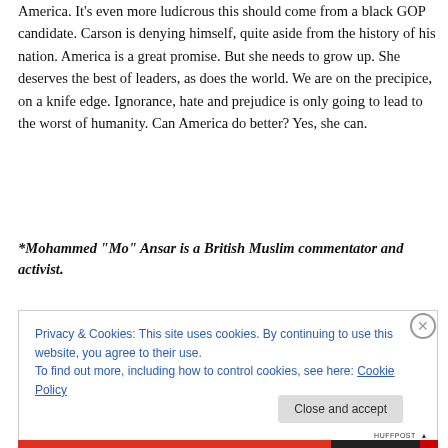America. It's even more ludicrous this should come from a black GOP candidate. Carson is denying himself, quite aside from the history of his nation. America is a great promise. But she needs to grow up. She deserves the best of leaders, as does the world. We are on the precipice, on a knife edge. Ignorance, hate and prejudice is only going to lead to the worst of humanity. Can America do better? Yes, she can.
*Mohammed “Mo” Ansar is a British Muslim commentator and activist.
Privacy & Cookies: This site uses cookies. By continuing to use this website, you agree to their use.
To find out more, including how to control cookies, see here: Cookie Policy